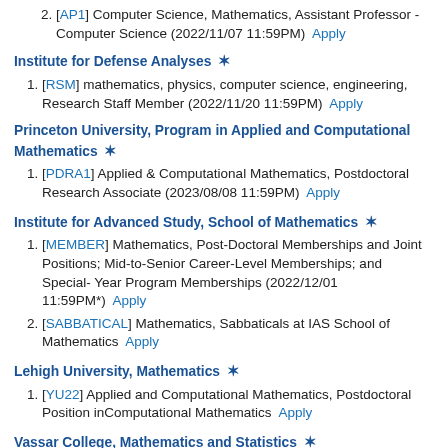[AP1] Computer Science, Mathematics, Assistant Professor - Computer Science (2022/11/07 11:59PM) Apply
Institute for Defense Analyses
[RSM] mathematics, physics, computer science, engineering, Research Staff Member (2022/11/20 11:59PM) Apply
Princeton University, Program in Applied and Computational Mathematics
[PDRA1] Applied & Computational Mathematics, Postdoctoral Research Associate (2023/08/08 11:59PM) Apply
Institute for Advanced Study, School of Mathematics
[MEMBER] Mathematics, Post-Doctoral Memberships and Joint Positions; Mid-to-Senior Career-Level Memberships; and Special-Year Program Memberships (2022/12/01 11:59PM*) Apply
[SABBATICAL] Mathematics, Sabbaticals at IAS School of Mathematics Apply
Lehigh University, Mathematics
[YU22] Applied and Computational Mathematics, Postdoctoral Position inComputational Mathematics Apply
Vassar College, Mathematics and Statistics
[MATH22] Mathematics (any specialty), Assistant Professor in